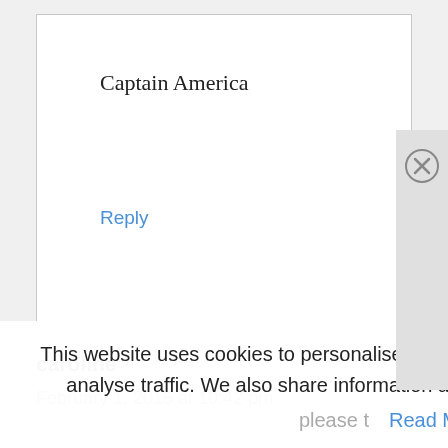Captain America
Reply
caroline
February 1, 2015 at 10:42 pm
This website uses cookies to personalise content, ads, to provide social media features and analyse traffic. We also share information about your use of our site with our partners.
please t   Read More   Accept